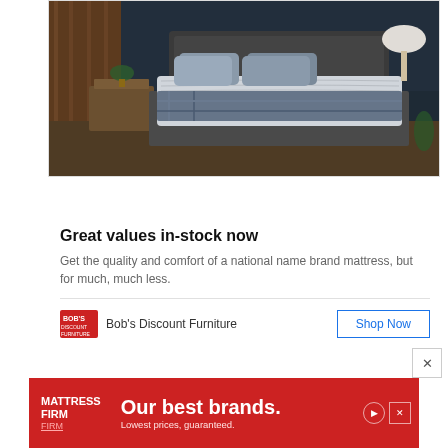[Figure (photo): Bedroom scene with a bed featuring a 'prize' branded mattress in a dark room with wooden furniture and side tables]
Get the quality and comfort of a national name brand but for much, much less
Great values in-stock now
Get the quality and comfort of a national name brand mattress, but for much, much less.
Bob's Discount Furniture
[Figure (logo): Bob's Discount Furniture logo in red]
[Figure (infographic): Mattress Firm advertisement banner: 'Our best brands. Lowest prices, guaranteed.']